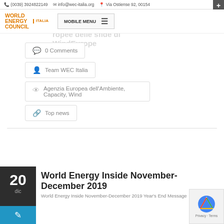(0039) 3924822149  info@wec-italia.org  Via Ostiense 92, 00154
[Figure (logo): World Energy Council Italia logo with orange text and mobile menu button]
0 Comments
Team WEC Italia
Agenzia Europea dell'Ambiente, Capacity, Wind
Top news
World Energy Inside November-December 2019
World Energy Inside November-December 2019 Year's End Message